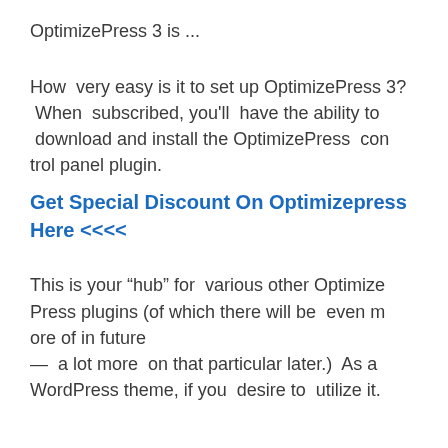OptimizePress 3 is ...
How very easy is it to set up OptimizePress 3?
 When subscribed, you'll have the ability to download and install the OptimizePress control panel plugin.
Get Special Discount On Optimizepress Here <<<<
This is your “hub” for various other OptimizePress plugins (of which there will be even more of in future — a lot more on that particular later.) As a WordPress theme, if you desire to utilize it.